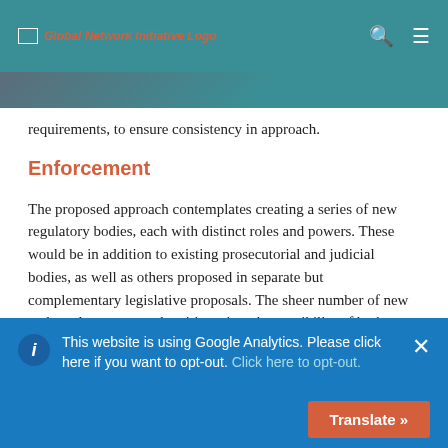Global Network Initiative Logo
requirements, to ensure consistency in approach.
Enforcement
The proposed approach contemplates creating a series of new regulatory bodies, each with distinct roles and powers. These would be in addition to existing prosecutorial and judicial bodies, as well as others proposed in separate but complementary legislative proposals. The sheer number of new and newly empowered entities raises the possibility of both overlaps in authority and possible gaps in implementation.
This website is using Google Analytics. Please click here if you want to opt-out. Click here to opt-out.